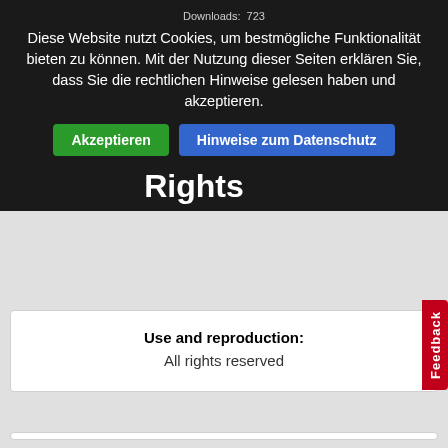Downloads: 723
Diese Website nutzt Cookies, um bestmögliche Funktionalität bieten zu können. Mit der Nutzung dieser Seiten erklären Sie, dass Sie die rechtlichen Hinweise gelesen haben und akzeptieren.
Akzeptieren
Hinweise zum Datenschutz
Rights
Use and reproduction:
All rights reserved
Export
BibTeX, Endnote, MODS, MARCXML, RIS, ISI, PICA, DC, CSV
Feedback